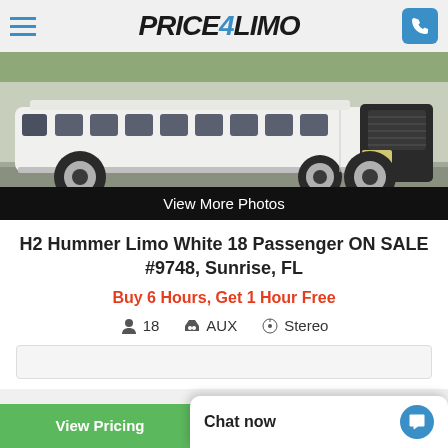Price4Limo
[Figure (photo): White stretch H2 Hummer limousine parked on a road, side view showing full length of the vehicle]
View More Photos
H2 Hummer Limo White 18 Passenger ON SALE #9748, Sunrise, FL
Buy 6 Hours, Get 1 Hour Free
18
AUX
Stereo
Chat now
View Pricing